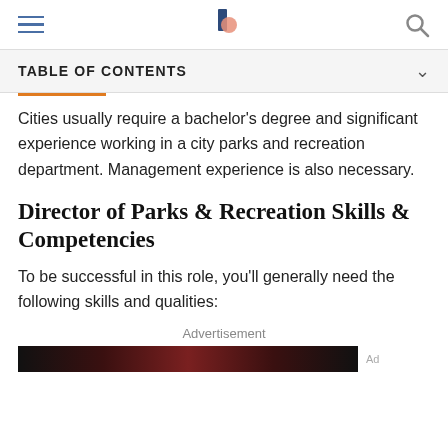TABLE OF CONTENTS
Cities usually require a bachelor’s degree and significant experience working in a city parks and recreation department. Management experience is also necessary.
Director of Parks & Recreation Skills & Competencies
To be successful in this role, you’ll generally need the following skills and qualities:
Advertisement